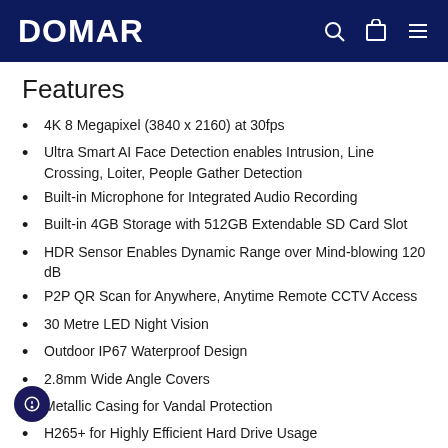DOMAR
Features
4K 8 Megapixel (3840 x 2160) at 30fps
Ultra Smart AI Face Detection enables Intrusion, Line Crossing, Loiter, People Gather Detection
Built-in Microphone for Integrated Audio Recording
Built-in 4GB Storage with 512GB Extendable SD Card Slot
HDR Sensor Enables Dynamic Range over Mind-blowing 120 dB
P2P QR Scan for Anywhere, Anytime Remote CCTV Access
30 Metre LED Night Vision
Outdoor IP67 Waterproof Design
2.8mm Wide Angle Covers
Metallic Casing for Vandal Protection
H265+ for Highly Efficient Hard Drive Usage
Built-in PoE to Deliver Power and Data with Just 1 Cable